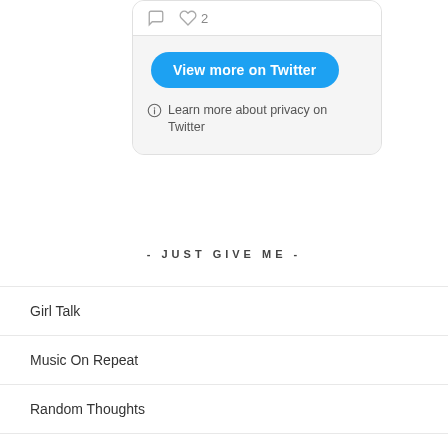[Figure (screenshot): Twitter embed card showing comment icon, heart icon with count 2, a blue 'View more on Twitter' button, and a privacy info link]
- JUST GIVE ME -
Girl Talk
Music On Repeat
Random Thoughts
Short Fiction/Humor